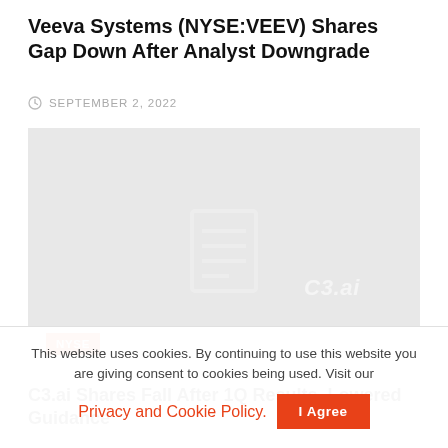Veeva Systems (NYSE:VEEV) Shares Gap Down After Analyst Downgrade
SEPTEMBER 2, 2022
[Figure (photo): Gray placeholder image with a faint C3.ai logo watermark and a document/chart icon in the center. Orange NYSE badge in the bottom-left corner.]
C3.ai Shares Fall After 1Q Results, Lowered Guidance
This website uses cookies. By continuing to use this website you are giving consent to cookies being used. Visit our Privacy and Cookie Policy.